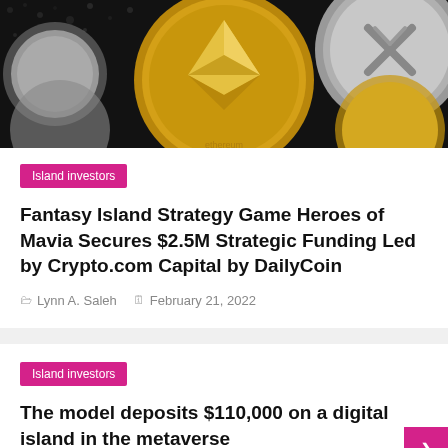[Figure (photo): Top-down photo of various cryptocurrency coins (Ethereum, Ripple/XRP and others) on a dark granular background]
Island investors
Fantasy Island Strategy Game Heroes of Mavia Secures $2.5M Strategic Funding Led by Crypto.com Capital by DailyCoin
Lynn A. Saleh   February 21, 2022
Island investors
The model deposits $110,000 on a digital island in the metaverse